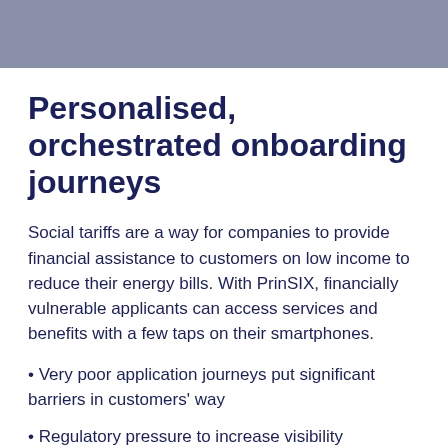Personalised, orchestrated onboarding journeys
Social tariffs are a way for companies to provide financial assistance to customers on low income to reduce their energy bills. With PrinSIX, financially vulnerable applicants can access services and benefits with a few taps on their smartphones.
Very poor application journeys put significant barriers in customers' way
Regulatory pressure to increase visibility